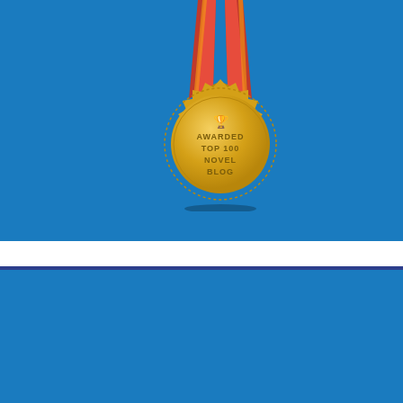[Figure (illustration): A gold award medal with red and yellow ribbon, inscribed with 'AWARDED TOP 100 NOVEL BLOG' with a trophy icon, on a blue background]
Copyright Notice
© Steven Barge and In Search Of The Classic Mystery Novel, 2010-present.